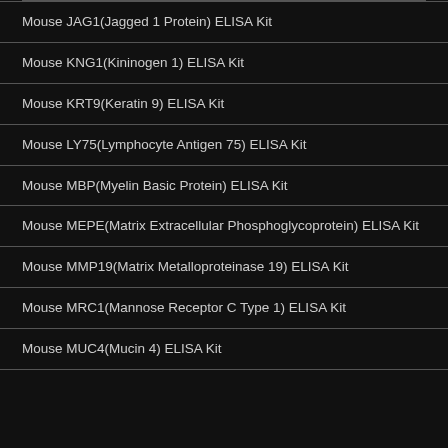Mouse JAG1(Jagged 1 Protein) ELISA Kit
Mouse KNG1(Kininogen 1) ELISA Kit
Mouse KRT9(Keratin 9) ELISA Kit
Mouse LY75(Lymphocyte Antigen 75) ELISA Kit
Mouse MBP(Myelin Basic Protein) ELISA Kit
Mouse MEPE(Matrix Extracellular Phosphoglycoprotein) ELISA Kit
Mouse MMP19(Matrix Metalloproteinase 19) ELISA Kit
Mouse MRC1(Mannose Receptor C Type 1) ELISA Kit
Mouse MUC4(Mucin 4) ELISA Kit